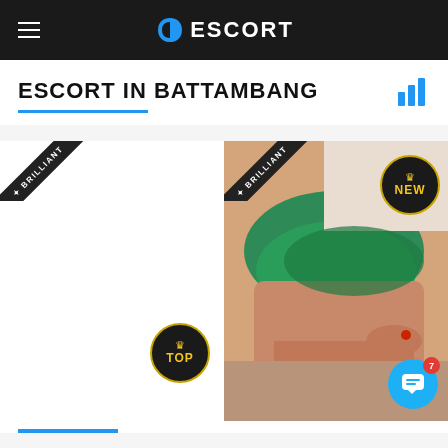ESCORT
ESCORT IN BATTAMBANG
[Figure (photo): Left listing card with BRILLIANT banner and TOP badge, white background]
[Figure (photo): Right listing card with BRILLIANT banner and NEW badge, showing a woman in a green bikini top lying down]